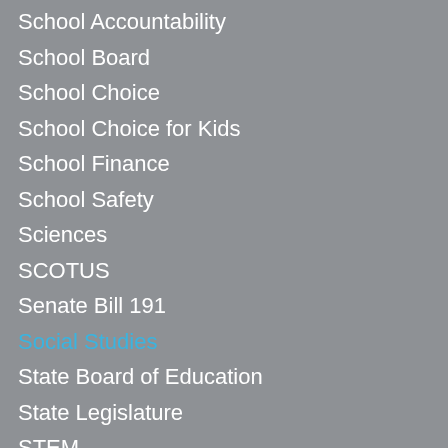School Accountability
School Board
School Choice
School Choice for Kids
School Finance
School Safety
Sciences
SCOTUS
Senate Bill 191
Social Studies
State Board of Education
State Legislature
STEM
Student Achievement
Suburban Schools